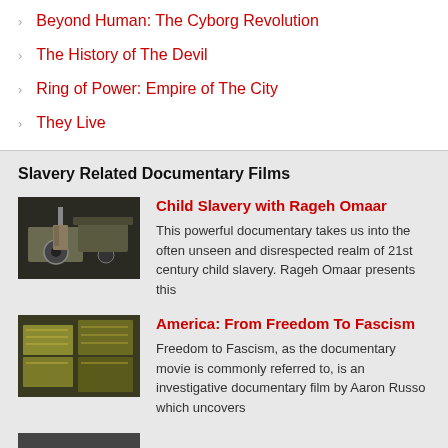Beyond Human: The Cyborg Revolution
The History of The Devil
Ring of Power: Empire of The City
They Live
Slavery Related Documentary Films
Child Slavery with Rageh Omaar
This powerful documentary takes us into the often unseen and disrespected realm of 21st century child slavery. Rageh Omaar presents this
America: From Freedom To Fascism
Freedom to Fascism, as the documentary movie is commonly referred to, is an investigative documentary film by Aaron Russo which uncovers